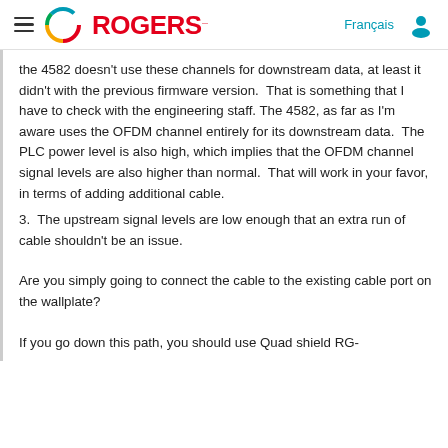Rogers — Français [navigation header]
the 4582 doesn't use these channels for downstream data, at least it didn't with the previous firmware version.  That is something that I have to check with the engineering staff.  The 4582, as far as I'm aware uses the OFDM channel entirely for its downstream data.  The PLC power level is also high, which implies that the OFDM channel signal levels are also higher than normal.  That will work in your favor, in terms of adding additional cable.
3.  The upstream signal levels are low enough that an extra run of cable shouldn't be an issue.
Are you simply going to connect the cable to the existing cable port on the wallplate?
If you go down this path, you should use Quad shield RG-